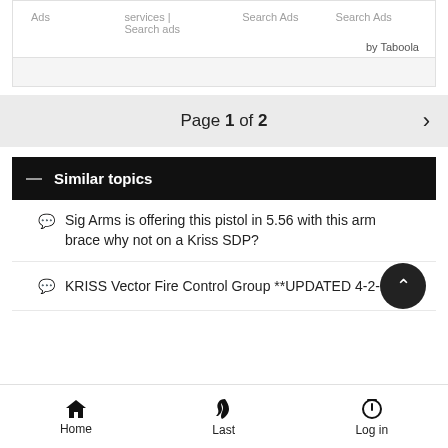Ads | services | Search ads | Search Ads | Search Ads
by Taboola
Page 1 of 2 >
— Similar topics
Sig Arms is offering this pistol in 5.56 with this arm brace why not on a Kriss SDP?
KRISS Vector Fire Control Group **UPDATED 4-2-13**
Home | Last | Log in